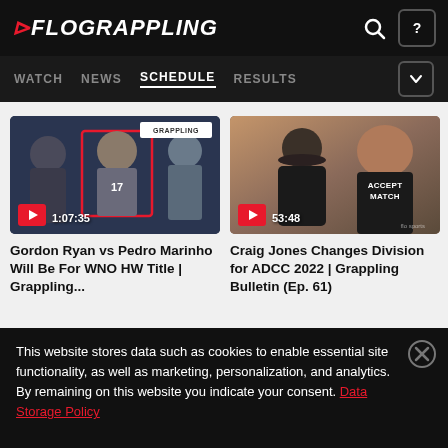FLOGRAPPLING — WATCH NEWS SCHEDULE RESULTS
[Figure (screenshot): Video thumbnail for Gordon Ryan vs Pedro Marinho grappling event, duration 1:07:35]
Gordon Ryan vs Pedro Marinho Will Be For WNO HW Title | Grappling...
[Figure (screenshot): Video thumbnail for Craig Jones Grappling Bulletin episode, duration 53:48]
Craig Jones Changes Division for ADCC 2022 | Grappling Bulletin (Ep. 61)
This website stores data such as cookies to enable essential site functionality, as well as marketing, personalization, and analytics. By remaining on this website you indicate your consent. Data Storage Policy